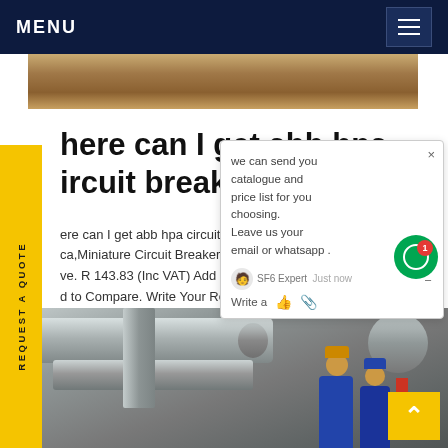MENU
[Figure (photo): Dirt/earth surface background image strip]
here can I get abb hpa circuit breaker Africa
ere can I get abb hpa circuit breaker Africa,Miniature Circuit Breakers 10A ve. R 143.83 (Inc VAT) Add to [cart] [wish]list [add] to Compare. Write Your Review.
[Figure (screenshot): Chat popup with message: we can send you catalogue and price list for you choosing. Leave us your email or whatsapp. SF6 Expert just now. Write a [thumbs up] [paperclip]]
[Figure (photo): Industrial equipment photo showing large cylindrical pipes/tanks with workers in blue overalls working on the equipment]
REQUEST A QUOTE